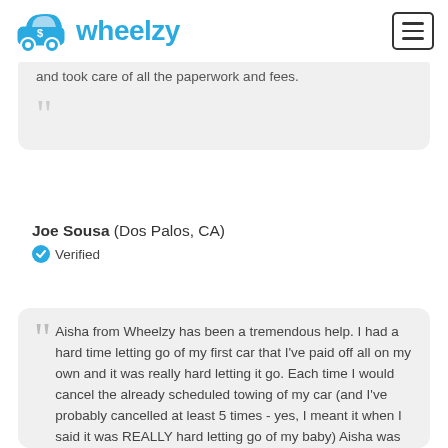wheelzy
and took care of all the paperwork and fees.
Joe Sousa (Dos Palos, CA) Verified
Aisha from Wheelzy has been a tremendous help. I had a hard time letting go of my first car that I've paid off all on my own and it was really hard letting it go. Each time I would cancel the already scheduled towing of my car (and I've probably cancelled at least 5 times - yes, I meant it when I said it was REALLY hard letting go of my baby) Aisha was there ready